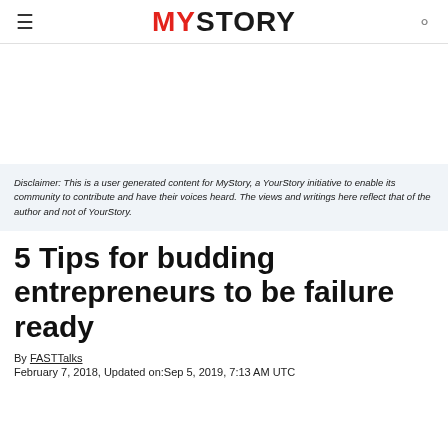MYSTORY
Disclaimer: This is a user generated content for MyStory, a YourStory initiative to enable its community to contribute and have their voices heard. The views and writings here reflect that of the author and not of YourStory.
5 Tips for budding entrepreneurs to be failure ready
By FASTTalks
February 7, 2018, Updated on:Sep 5, 2019, 7:13 AM UTC